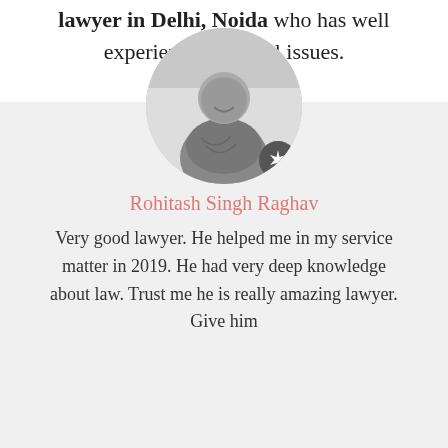lawyer in Delhi, Noida who has well experienced in legal issues.
[Figure (photo): Circular profile photo of a man smiling, wearing a scarf/stole, in grayscale. A dark circular badge with a star/compass icon appears at the bottom right of the photo circle.]
Rohitash Singh Raghav
Very good lawyer. He helped me in my service matter in 2019. He had very deep knowledge about law. Trust me he is really amazing lawyer. Give him